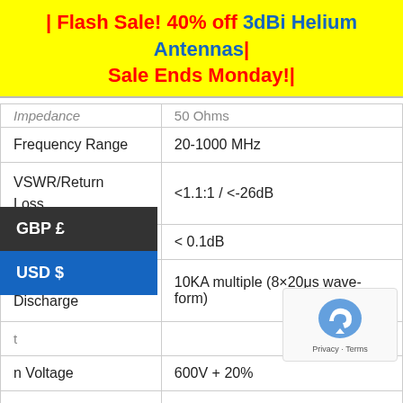| Flash Sale! 40% off 3dBi Helium Antennas| Sale Ends Monday!|
| Parameter | Value |
| --- | --- |
| Impedance | 50 Ohms |
| Frequency Range | 20-1000 MHz |
| VSWR/Return Loss | <1.1:1 / <-26dB |
| Insertion Loss | < 0.1dB |
| Impulse Discharge | 10KA multiple (8×20μs wave-form) |
| ...t |  |
| n Voltage | 600V + 20% |